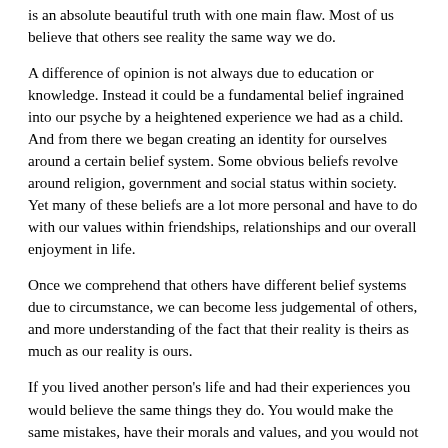is an absolute beautiful truth with one main flaw. Most of us believe that others see reality the same way we do.
A difference of opinion is not always due to education or knowledge. Instead it could be a fundamental belief ingrained into our psyche by a heightened experience we had as a child. And from there we began creating an identity for ourselves around a certain belief system. Some obvious beliefs revolve around religion, government and social status within society. Yet many of these beliefs are a lot more personal and have to do with our values within friendships, relationships and our overall enjoyment in life.
Once we comprehend that others have different belief systems due to circumstance, we can become less judgemental of others, and more understanding of the fact that their reality is theirs as much as our reality is ours.
If you lived another person's life and had their experiences you would believe the same things they do. You would make the same mistakes, have their morals and values, and you would not resemble the person you are today in any form. Your parents and teachers would be the same as theirs, and your experiences which created their perception would not differ with you at the driver's seat. The morals and values you might hold so tight to your current existence will never adapt to this other persons reality. Why? Because your morals and values were not something you were born with, they developed through your life experiences. Therefore it is useless to say to another person that their belief system is wrong, as you yourself would have made the same choices in life as they did if you grew up in their reality.